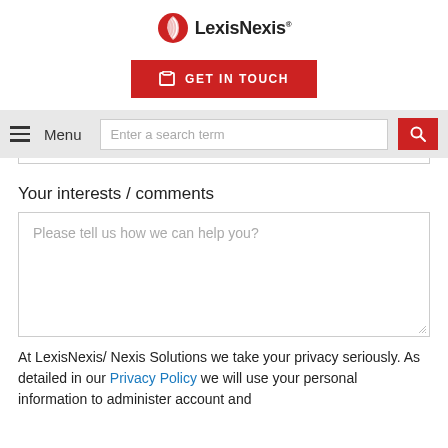[Figure (logo): LexisNexis logo with red circular icon and bold text 'LexisNexis']
[Figure (other): Red 'GET IN TOUCH' button with white phone/clipboard icon]
[Figure (other): Navigation bar with hamburger Menu icon and search box 'Enter a search term' with red search button]
Your interests / comments
[Figure (other): Text area with placeholder 'Please tell us how we can help you?']
At LexisNexis/ Nexis Solutions we take your privacy seriously. As detailed in our Privacy Policy we will use your personal information to administer account and